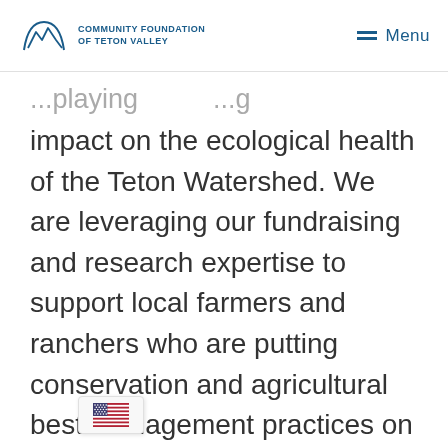Community Foundation of Teton Valley | Menu
...playing ... impact on the ecological health of the Teton Watershed. We are leveraging our fundraising and research expertise to support local farmers and ranchers who are putting conservation and agricultural best management practices on the ground to improve water quality, soil health, and economic returns.
We are a community resource providing public services like well water testing kits; technical assistance for stream restoration, and information